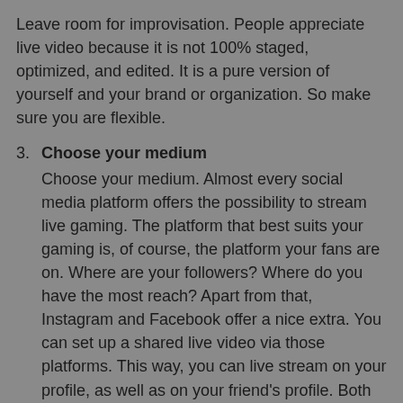Leave room for improvisation. People appreciate live video because it is not 100% staged, optimized, and edited. It is a pure version of yourself and your brand or organization. So make sure you are flexible.
3. Choose your medium
Choose your medium. Almost every social media platform offers the possibility to stream live gaming. The platform that best suits your gaming is, of course, the platform your fans are on. Where are your followers? Where do you have the most reach? Apart from that, Instagram and Facebook offer a nice extra. You can set up a shared live video via those platforms. This way, you can live stream on your profile, as well as on your friend's profile. Both your followers and the followers of the other gamer will receive a notification. And that way you reach a lot of new fans.
4. Respond to your audience
Live streaming is a huge opportunity to make your followers feel connected to your channel. The best way